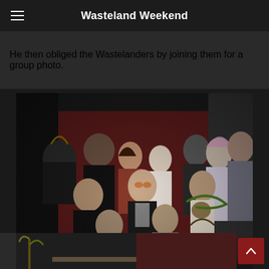Wasteland Weekend
He then obliged the Wastelanders by joining them for a group photo.
[Figure (photo): Group photo of Wasteland Weekend costumed fans with a man in a black tuxedo and bow tie wearing orange-tinted glasses, posing with elaborately costumed wasteland-themed attendees including a woman in post-apocalyptic armor and a man in a biker jacket, inside a venue with a dark red wall background.]
[Figure (photo): Partial view of another photo showing the bottom of an indoor scene with plants and a red wall.]